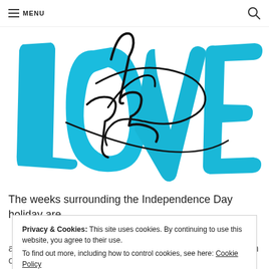≡ MENU 🔍
[Figure (illustration): Hand-lettered artwork showing the word 'LOVE' in large teal/cyan brush strokes with 'Link' written in black script overlaid on top]
The weeks surrounding the Independence Day holiday are
Privacy & Cookies: This site uses cookies. By continuing to use this website, you agree to their use.
To find out more, including how to control cookies, see here: Cookie Policy
Close and accept
all change in a couple weeks when August can be seen on